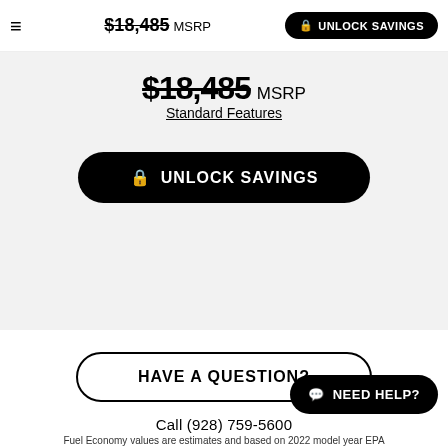$18,485 MSRP  UNLOCK SAVINGS
$18,485 MSRP
Standard Features
🔒 UNLOCK SAVINGS
HAVE A QUESTION?
Call (928) 759-5600
NEED HELP?
Fuel Economy values are estimates and based on 2022 model year EPA